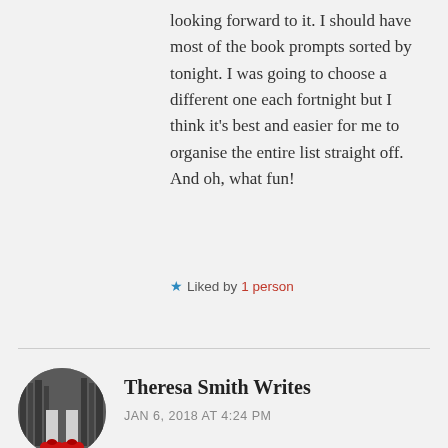looking forward to it. I should have most of the book prompts sorted by tonight. I was going to choose a different one each fortnight but I think it's best and easier for me to organise the entire list straight off. And oh, what fun!
★ Liked by 1 person
[Figure (photo): Circular avatar photo showing a person's feet wearing red shoes, in black and white style with red color accent on the shoes.]
Theresa Smith Writes
JAN 6, 2018 AT 4:24 PM